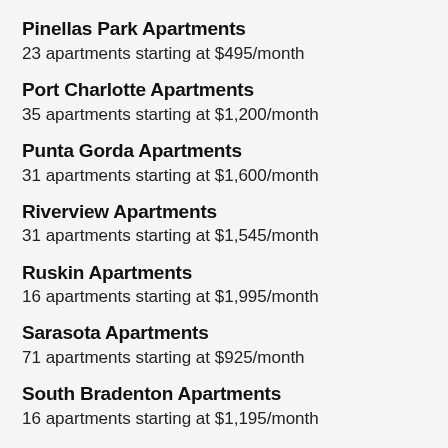Pinellas Park Apartments
23 apartments starting at $495/month
Port Charlotte Apartments
35 apartments starting at $1,200/month
Punta Gorda Apartments
31 apartments starting at $1,600/month
Riverview Apartments
31 apartments starting at $1,545/month
Ruskin Apartments
16 apartments starting at $1,995/month
Sarasota Apartments
71 apartments starting at $925/month
South Bradenton Apartments
16 apartments starting at $1,195/month